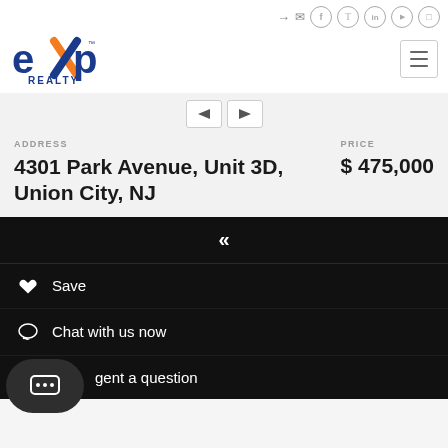[Figure (logo): eXp Realty logo — blue and orange logo with stylized X]
ADDRESS
PRICE
4301 Park Avenue, Unit 3D, Union City, NJ
$ 475,000
Save
Chat with us now
gent a question